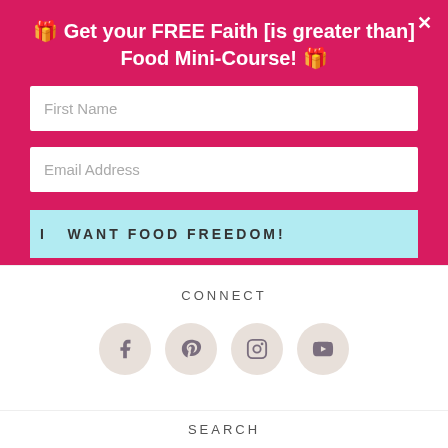🎁 Get your FREE Faith [is greater than] Food Mini-Course! 🎁
First Name
Email Address
I  WANT FOOD FREEDOM!
CONNECT
[Figure (illustration): Four social media icon circles: Facebook, Pinterest, Instagram, YouTube]
SEARCH